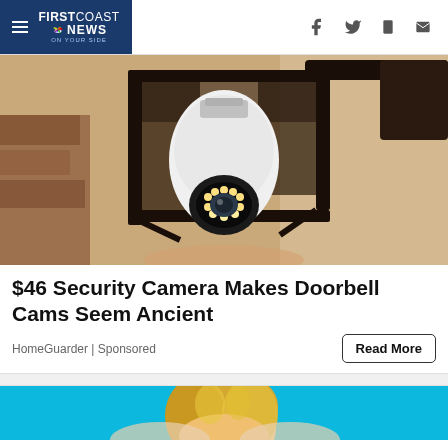FIRSTCOAST NEWS
[Figure (photo): Security camera that looks like a light bulb installed in an outdoor lantern fixture mounted on a textured stucco wall]
$46 Security Camera Makes Doorbell Cams Seem Ancient
HomeGuarder | Sponsored
[Figure (photo): Partial view of a blonde woman against a teal/blue background]